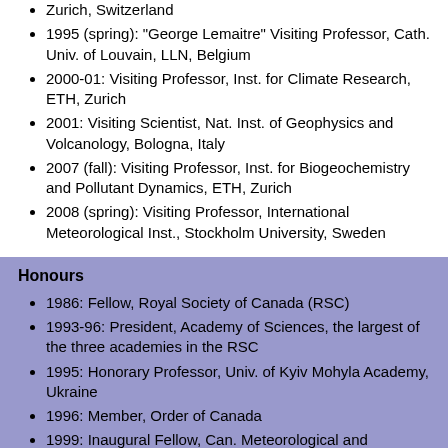Zurich, Switzerland
1995 (spring): "George Lemaitre" Visiting Professor, Cath. Univ. of Louvain, LLN, Belgium
2000-01: Visiting Professor, Inst. for Climate Research, ETH, Zurich
2001: Visiting Scientist, Nat. Inst. of Geophysics and Volcanology, Bologna, Italy
2007 (fall): Visiting Professor, Inst. for Biogeochemistry and Pollutant Dynamics, ETH, Zurich
2008 (spring): Visiting Professor, International Meteorological Inst., Stockholm University, Sweden
Honours
1986: Fellow, Royal Society of Canada (RSC)
1993-96: President, Academy of Sciences, the largest of the three academies in the RSC
1995: Honorary Professor, Univ. of Kyiv Mohyla Academy, Ukraine
1996: Member, Order of Canada
1999: Inaugural Fellow, Can. Meteorological and Oceanographic Society (CMOS)
2000: Fellow, American Meteorological Society
2000: Fellow, American Geophysical Union
2000: Foreign Member, Academia Europaea
2002 (spring): RSC-NAS Ukraine Exchange Lecturer in Kyiv, Sevastopol and Lviv